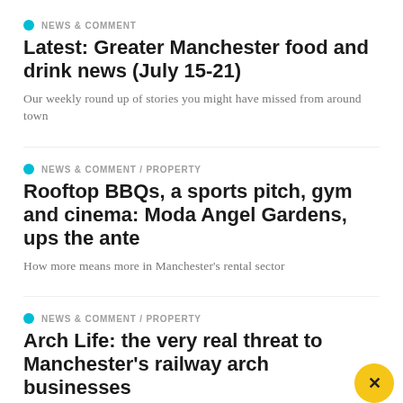NEWS & COMMENT
Latest: Greater Manchester food and drink news (July 15-21)
Our weekly round up of stories you might have missed from around town
NEWS & COMMENT / PROPERTY
Rooftop BBQs, a sports pitch, gym and cinema: Moda Angel Gardens, ups the ante
How more means more in Manchester's rental sector
NEWS & COMMENT / PROPERTY
Arch Life: the very real threat to Manchester's railway arch businesses
Network Rail's mass sell-off could spell trouble for Manchester traders. Danny Moran reports on